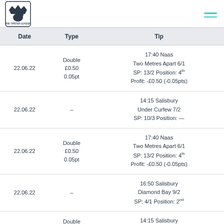[Figure (logo): The Tipster League logo — crown with horse head icon, text 'THE TIPSTER LEAGUE']
| Date | Type | Tip |
| --- | --- | --- |
| 22.06.22 | Double
£0.50
0.05pt | 17:40 Naas
Two Metres Apart 6/1
SP: 13/2 Position: 4th
Profit: -£0.50 (-0.05pts) |
| 22.06.22 | – | 14:15 Salisbury
Under Curfew 7/2
SP: 10/3 Position: — |
| 22.06.22 | Double
£0.50
0.05pt | 17:40 Naas
Two Metres Apart 6/1
SP: 13/2 Position: 4th
Profit: -£0.50 (-0.05pts) |
| 22.06.22 | – | 16:50 Salisbury
Diamond Bay 9/2
SP: 4/1 Position: 2nd |
| 22.06.22 | Double
£0.50
0.05pt | 14:15 Salisbury
Under Curfew 7/2
SP: 10/3 Position: — |